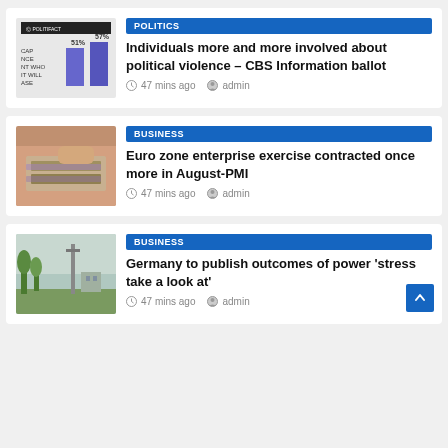[Figure (other): Thumbnail showing a bar chart with two purple bars labeled 51% and 57%, with text CAP, NCE, NT WHO, IT WILL, ASE on the left]
POLITICS
Individuals more and more involved about political violence – CBS Information ballot
47 mins ago  admin
[Figure (photo): Thumbnail showing hands holding Indian currency notes]
BUSINESS
Euro zone enterprise exercise contracted once more in August-PMI
47 mins ago  admin
[Figure (photo): Thumbnail showing a landscape with trees, a tower or pole, and buildings in the background]
BUSINESS
Germany to publish outcomes of power 'stress take a look at'
47 mins ago  admin